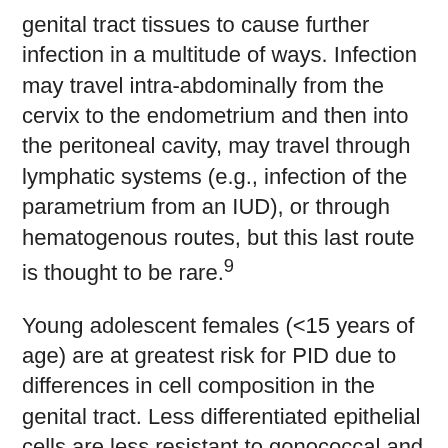genital tract tissues to cause further infection in a multitude of ways. Infection may travel intra-abdominally from the cervix to the endometrium and then into the peritoneal cavity, may travel through lymphatic systems (e.g., infection of the parametrium from an IUD), or through hematogenous routes, but this last route is thought to be rare.⁹
Young adolescent females (<15 years of age) are at greatest risk for PID due to differences in cell composition in the genital tract. Less differentiated epithelial cells are less resistant to gonococcal and chlamydial infections when compared with cells seen in older adolescents and adult women. This is further complicated by immune system reactions to chlamydial infection, resulting in inflammation and